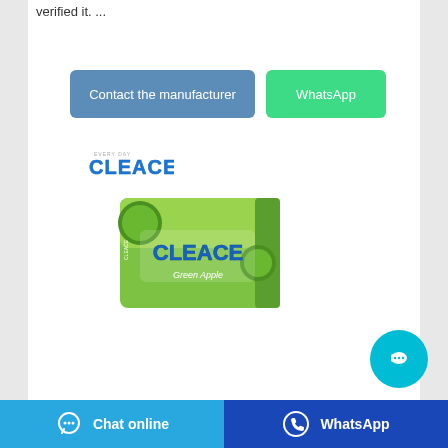verified it. ...
Contact the manufacturer
WhatsApp
[Figure (logo): Cleace brand logo in blue text with icy styling]
[Figure (photo): Cleace Green Apple soap/detergent product box, green packaging with apples]
Aircraft Fabrication and
Chat online
WhatsApp